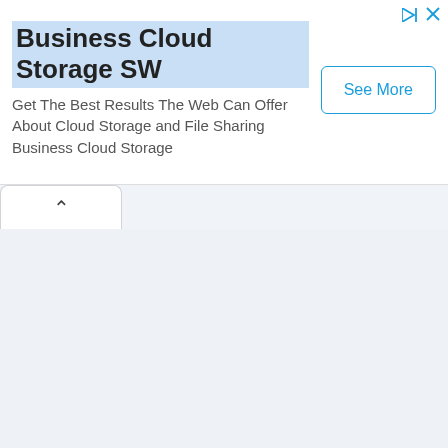Business Cloud Storage SW
Get The Best Results The Web Can Offer About Cloud Storage and File Sharing Business Cloud Storage
[Figure (screenshot): Ad banner with 'See More' button, chevron tab, and empty light-blue content area]